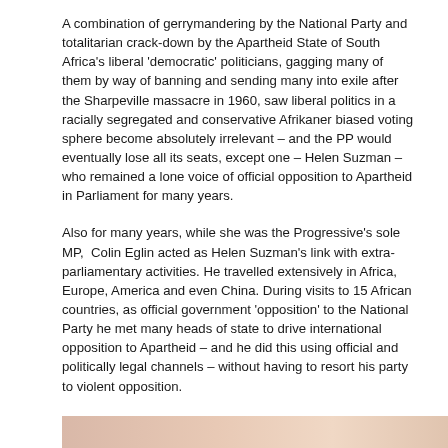A combination of gerrymandering by the National Party and totalitarian crack-down by the Apartheid State of South Africa's liberal 'democratic' politicians, gagging many of them by way of banning and sending many into exile after the Sharpeville massacre in 1960, saw liberal politics in a racially segregated and conservative Afrikaner biased voting sphere become absolutely irrelevant – and the PP would eventually lose all its seats, except one – Helen Suzman – who remained a lone voice of official opposition to Apartheid in Parliament for many years.
Also for many years, while she was the Progressive's sole MP, Colin Eglin acted as Helen Suzman's link with extra-parliamentary activities. He travelled extensively in Africa, Europe, America and even China. During visits to 15 African countries, as official government 'opposition' to the National Party he met many heads of state to drive international opposition to Apartheid – and he did this using official and politically legal channels – without having to resort his party to violent opposition.
[Figure (photo): Bottom edge of a photograph visible at the bottom of the page, showing warm pinkish/peach tones.]